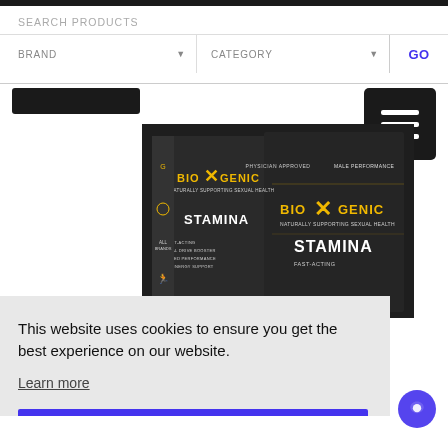SEARCH PRODUCTS | BRAND ▼ | CATEGORY ▼ | GO
[Figure (photo): BioXGenic Stamina product boxes on dark background]
This website uses cookies to ensure you get the best experience on our website.
Learn more
Got it!